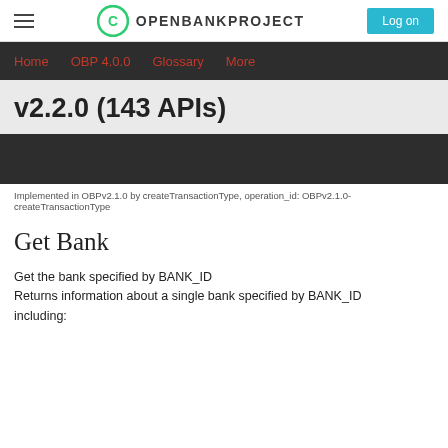OPENBANKPROJECT  Log on
Home  OBP 4.0.0  Glossary  More
v2.2.0 (143 APIs)
Implemented in OBPv2.1.0 by createTransactionType, operation_id: OBPv2.1.0-createTransactionType
Get Bank
Get the bank specified by BANK_ID
Returns information about a single bank specified by BANK_ID including: